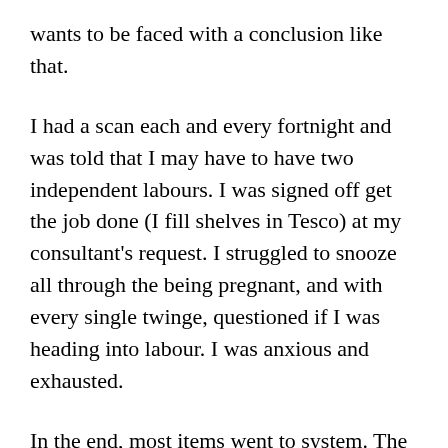wants to be faced with a conclusion like that.
I had a scan each and every fortnight and was told that I may have to have two independent labours. I was signed off get the job done (I fill shelves in Tesco) at my consultant's request. I struggled to snooze all through the being pregnant, and with every single twinge, questioned if I was heading into labour. I was anxious and exhausted.
In the end, most items went to system. The twins arrived by planned C-portion at 35 weeks on 23 October very last calendar year. Watson used 24 hrs in specific care, but in any other case they